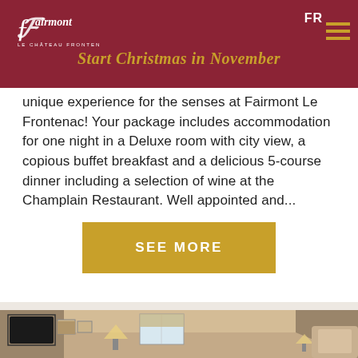Fairmont Le Château Frontenac — FR
Start Christmas in November
unique experience for the senses at Fairmont Le Frontenac! Your package includes accommodation for one night in a Deluxe room with city view, a copious buffet breakfast and a delicious 5-course dinner including a selection of wine at the Champlain Restaurant. Well appointed and...
[Figure (photo): Hotel room interior with warm lighting, TV on wall, framed pictures, lamp on nightstand, window with blind, angled ceiling walls suggesting a chateau-style room.]